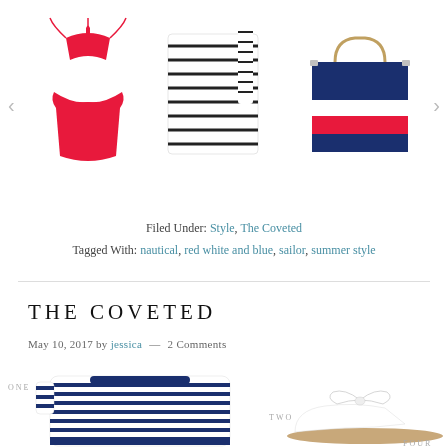[Figure (photo): Carousel of fashion items: red bikini set, navy striped wrap top, navy/white/red striped handbag with carousel navigation arrows]
Filed Under: Style, The Coveted
Tagged With: nautical, red white and blue, sailor, summer style
THE COVETED
May 10, 2017 by jessica — 2 Comments
[Figure (photo): Grid of fashion products: navy striped Breton top (labeled ONE), white bow slide mule (labeled TWO), partial fourth item (labeled FOUR)]